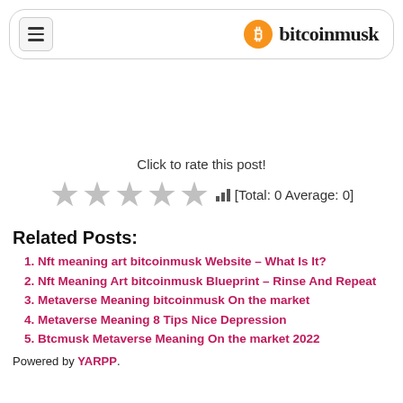bitcoinmusk
Click to rate this post!
★★★★★ [Total: 0 Average: 0]
Related Posts:
Nft meaning art bitcoinmusk Website – What Is It?
Nft Meaning Art bitcoinmusk Blueprint – Rinse And Repeat
Metaverse Meaning bitcoinmusk On the market
Metaverse Meaning 8 Tips Nice Depression
Btcmusk Metaverse Meaning On the market 2022
Powered by YARPP.